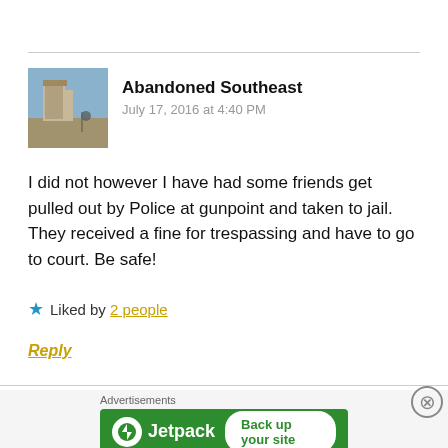[Figure (screenshot): Comment section from a blog/website. Shows user avatar photo of abandoned building with person, username 'Abandoned Southeast', date 'July 17, 2016 at 4:40 PM', comment text, liked by 2 people, Reply link, and Jetpack advertisement at the bottom.]
Abandoned Southeast
July 17, 2016 at 4:40 PM
I did not however I have had some friends get pulled out by Police at gunpoint and taken to jail. They received a fine for trespassing and have to go to court. Be safe!
Liked by 2 people
Reply
Advertisements
[Figure (screenshot): Jetpack advertisement banner with green background, Jetpack logo, and 'Back up your site' button]